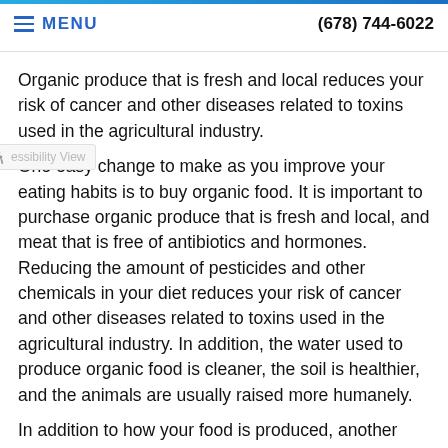MENU | (678) 744-6022
[Figure (photo): Food photo in header area]
Organic produce that is fresh and local reduces your risk of cancer and other diseases related to toxins used in the agricultural industry.
One easy change to make as you improve your eating habits is to buy organic food. It is important to purchase organic produce that is fresh and local, and meat that is free of antibiotics and hormones. Reducing the amount of pesticides and other chemicals in your diet reduces your risk of cancer and other diseases related to toxins used in the agricultural industry. In addition, the water used to produce organic food is cleaner, the soil is healthier, and the animals are usually raised more humanely.
In addition to how your food is produced, another important step is to eat a diet that includes a variety of fruits and...